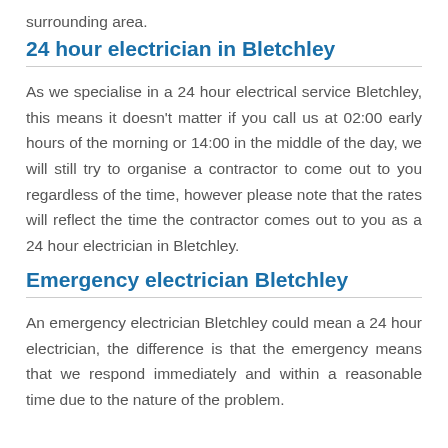surrounding area.
24 hour electrician in Bletchley
As we specialise in a 24 hour electrical service Bletchley, this means it doesn't matter if you call us at 02:00 early hours of the morning or 14:00 in the middle of the day, we will still try to organise a contractor to come out to you regardless of the time, however please note that the rates will reflect the time the contractor comes out to you as a 24 hour electrician in Bletchley.
Emergency electrician Bletchley
An emergency electrician Bletchley could mean a 24 hour electrician, the difference is that the emergency means that we respond immediately and within a reasonable time due to the nature of the problem.